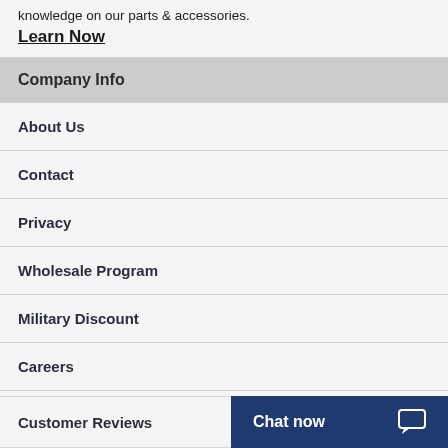knowledge on our parts & accessories.
Learn Now
Company Info
About Us
Contact
Privacy
Wholesale Program
Military Discount
Careers
Customer Reviews
Chat now